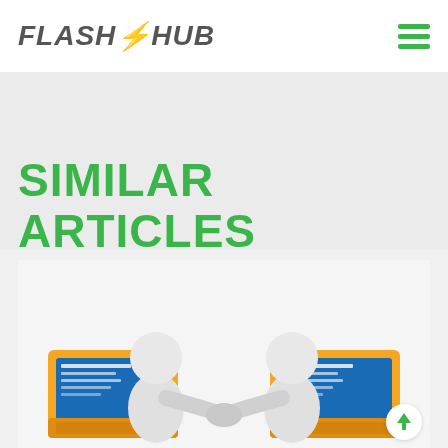FLASH HUB
SIMILAR ARTICLES
[Figure (illustration): Two 3D white figurines shaking hands across two orange laptops, symbolizing online networking or partnership]